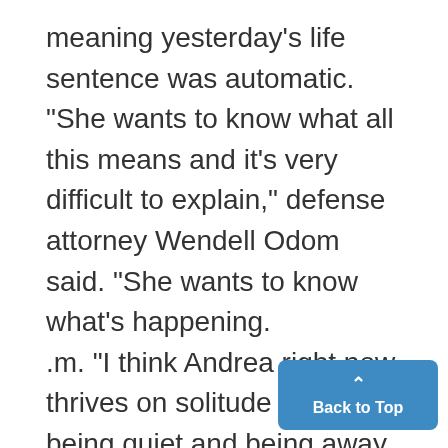meaning yesterday's life sentence was automatic. "She wants to know what all this means and it's very difficult to explain," defense attorney Wendell Odom said. "She wants to know what's happening. .m. "I think Andrea right now thrives on solitude and being quiet and being away from it all." Her family, however, was far from quiet. Brian Kennedy, her broth an interview broadcast on ABC "Good Morning America," called Rus